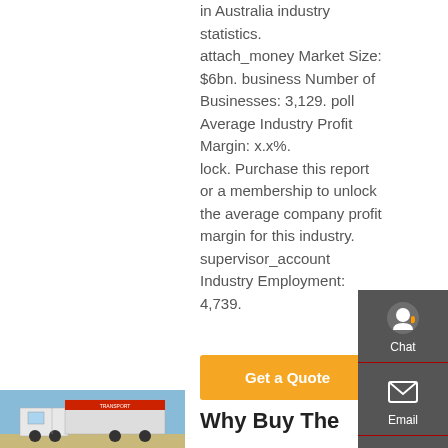in Australia industry statistics. attach_money Market Size: $6bn. business Number of Businesses: 3,129. poll Average Industry Profit Margin: x.x%. lock. Purchase this report or a membership to unlock the average company profit margin for this industry. supervisor_account Industry Employment: 4,739.
Get a Quote
[Figure (photo): Photo of a truck/transport vehicle against a blue sky, with red signage visible]
Why Buy The